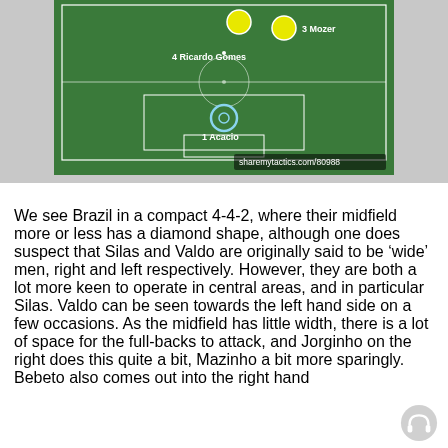[Figure (other): Football tactics diagram on green pitch showing player positions with yellow and green circles. Players labeled: 3 Mozer, 4 Ricardo Gomes, 1 Acacio. Website watermark: sharemytactics.com/80988]
We see Brazil in a compact 4-4-2, where their midfield more or less has a diamond shape, although one does suspect that Silas and Valdo are originally said to be ‘wide’ men, right and left respectively. However, they are both a lot more keen to operate in central areas, and in particular Silas. Valdo can be seen towards the left hand side on a few occasions. As the midfield has little width, there is a lot of space for the full-backs to attack, and Jorginho on the right does this quite a bit, Mazinho a bit more sparingly. Bebeto also comes out into the right hand